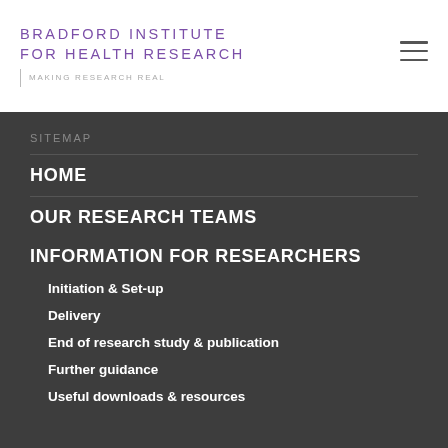[Figure (logo): Bradford Institute for Health Research logo with tagline 'Making Research Real']
SITEMAP
HOME
OUR RESEARCH TEAMS
INFORMATION FOR RESEARCHERS
Initiation & Set-up
Delivery
End of research study & publication
Further guidance
Useful downloads & resources